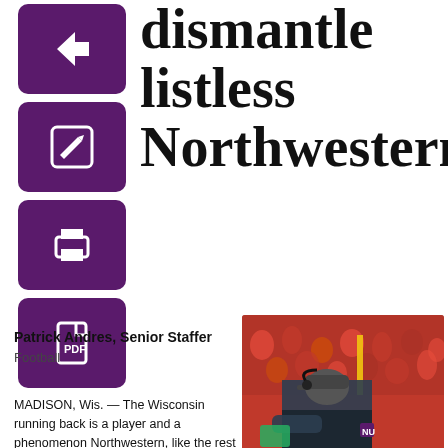dismantle listless Northwestern
Patrick Andres, Senior Staffer
Football
[Figure (photo): Coach Pat Fitzgerald on the sideline with headset, crowd in background]
Joshua Hoffman/Daily Senior Staffer
Pat Fitzgerald surveys the field. Northwestern dropped to 3-7 with its loss to No. 18 Wisconsin, its second seven-loss season in the past seven years.
MADISON, Wis. — The Wisconsin running back is a player and a phenomenon Northwestern, like the rest of the Big Ten, knows well. The list of stellar Badgers backs that have torched the Wildcats over the years reads loud and long: Jonathan Taylor. Corey Clement. Melvin Gordon. James White.